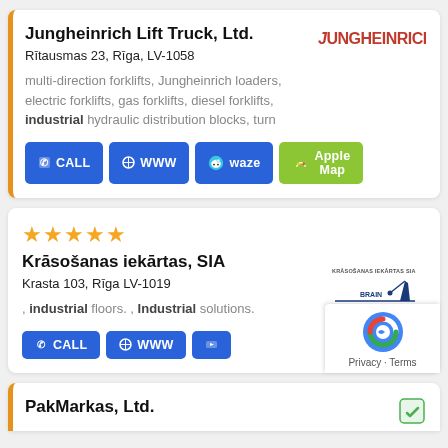Jungheinrich Lift Truck, Ltd.
Rītausmas 23, Rīga, LV-1058
multi-direction forklifts, Jungheinrich loaders, electric forklifts, gas forklifts, diesel forklifts, industrial hydraulic distribution blocks, turn
[Figure (logo): Jungheinrich logo in red/dark text]
CALL   WWW   waze   Apple Map
★★★★★
Krāsošanas iekārtas, SIA
Krasta 103, Rīga LV-1019
, industrial floors. , Industrial solutions.
[Figure (logo): Krāsošanas iekārtas SIA logo with crane/equipment graphic]
CALL   WWW   Video
PakMarkas, Ltd.
[Figure (logo): reCAPTCHA badge with Privacy - Terms]